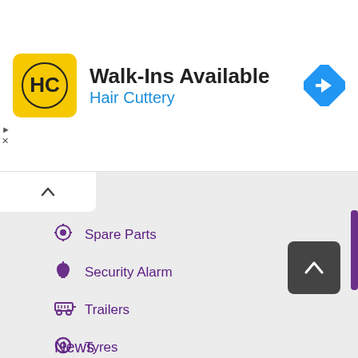[Figure (screenshot): Hair Cuttery advertisement banner with logo, 'Walk-Ins Available' heading, 'Hair Cuttery' subtitle in blue, and a blue navigation arrow icon on the right.]
Spare Parts
Security Alarm
Trailers
Tyres
Mobility Aids
Electric Scooters
Scooter Accessories
News